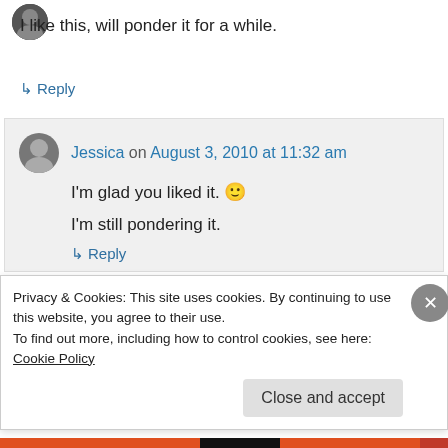[Figure (photo): User avatar at top (partially visible circle)]
I like this, will ponder it for a while.
↳ Reply
Jessica on August 3, 2010 at 11:32 am
I'm glad you liked it. 🙂
I'm still pondering it.
↳ Reply
Privacy & Cookies: This site uses cookies. By continuing to use this website, you agree to their use.
To find out more, including how to control cookies, see here: Cookie Policy
Close and accept